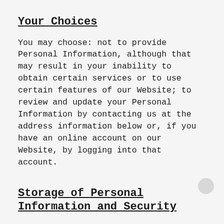Your Choices
You may choose: not to provide Personal Information, although that may result in your inability to obtain certain services or to use certain features of our Website; to review and update your Personal Information by contacting us at the address information below or, if you have an online account on our Website, by logging into that account.
Storage of Personal Information and Security
We take reasonable precautions to protect the Personal Information we collect from our Website users and visitors. When users submit Personal Information via the